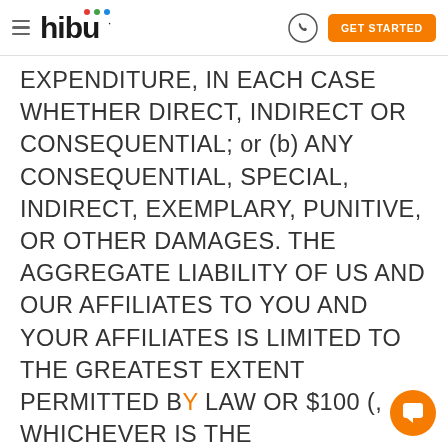hibu — GET STARTED
EXPENDITURE, IN EACH CASE WHETHER DIRECT, INDIRECT OR CONSEQUENTIAL; or (b) ANY CONSEQUENTIAL, SPECIAL, INDIRECT, EXEMPLARY, PUNITIVE, OR OTHER DAMAGES. THE AGGREGATE LIABILITY OF US AND OUR AFFILIATES TO YOU AND YOUR AFFILIATES IS LIMITED TO THE GREATEST EXTENT PERMITTED BY LAW OR $100 (, WHICHEVER IS THE